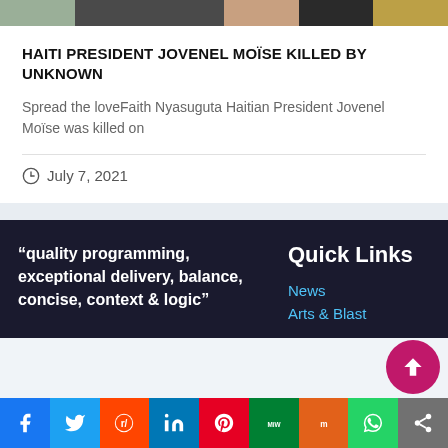[Figure (photo): Top portion of an image showing people in formal attire, partially cropped]
HAITI PRESIDENT JOVENEL MOÏSE KILLED BY UNKNOWN
Spread the loveFaith Nyasuguta Haitian President Jovenel Moïse was killed on
July 7, 2021
“quality programming, exceptional delivery, balance, concise, context & logic”
Quick Links
News
Arts & Blast
[Figure (infographic): Social media share bar with icons for Facebook, Twitter, Reddit, LinkedIn, Pinterest, MeWe, Mix, WhatsApp, and Share]